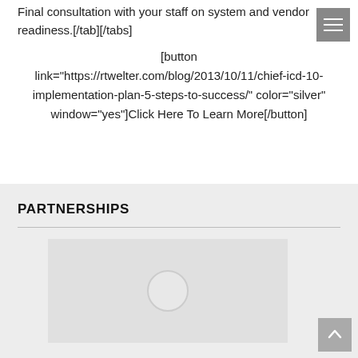Final consultation with your staff on system and vendor readiness.[/tab][/tabs]
[button link="https://rtwelter.com/blog/2013/10/11/chief-icd-10-implementation-plan-5-steps-to-success/" color="silver" window="yes"]Click Here To Learn More[/button]
PARTNERSHIPS
[Figure (photo): Placeholder image area with a circle icon in the center, light gray background]